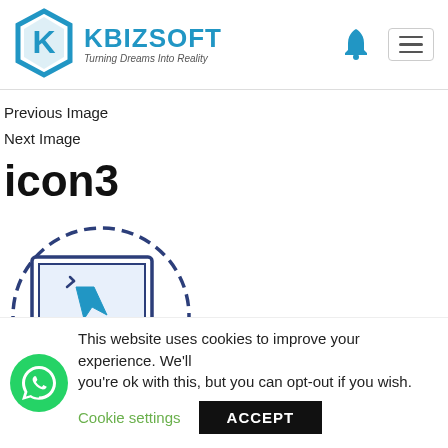[Figure (logo): Kbizsoft logo with hexagonal K icon in blue and text 'KBIZSOFT Turning Dreams Into Reality']
Previous Image
Next Image
icon3
[Figure (illustration): Circle icon with a computer monitor showing a cursor clicking, in blue outline style, partially cropped at bottom]
This website uses cookies to improve your experience. We'll you're ok with this, but you can opt-out if you wish.
Cookie settings   ACCEPT